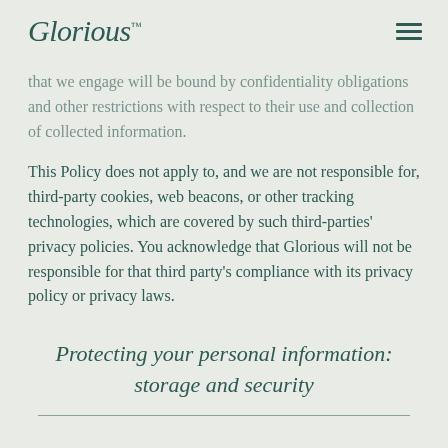Glorious™
that we engage will be bound by confidentiality obligations and other restrictions with respect to their use and collection of collected information.
This Policy does not apply to, and we are not responsible for, third-party cookies, web beacons, or other tracking technologies, which are covered by such third-parties' privacy policies. You acknowledge that Glorious will not be responsible for that third party's compliance with its privacy policy or privacy laws.
Protecting your personal information: storage and security